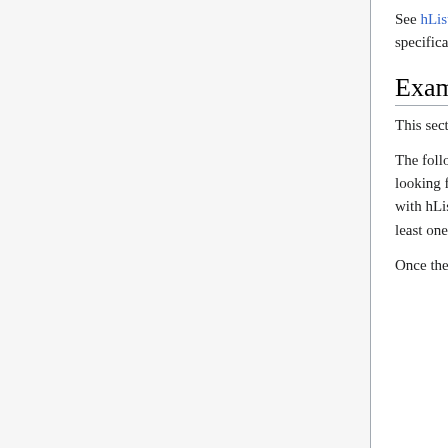See hListing Challenge Problems for some hypothetical examples that illustrate corners of the specification.
Examples in the Wild
This section is informative.
The following sites have implemented hListing draft, and thus are a great place to start for anyone looking for examples "in the wild" to try parsing, indexing, organizing etc. If your site is marked up with hListing, feel free to add it to the top of this list. Include both a URL to the top level site, and at least one URL to a specific hListing item on that site so that the hListing markup can be verified.
Once the list grows too big, we'll make a separate wiki page like hlisting-examples-in-wild.